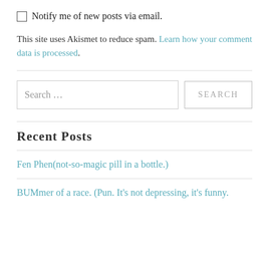Notify me of new posts via email.
This site uses Akismet to reduce spam. Learn how your comment data is processed.
Search …
Recent Posts
Fen Phen(not-so-magic pill in a bottle.)
BUMmer of a race. (Pun. It's not depressing, it's funny.